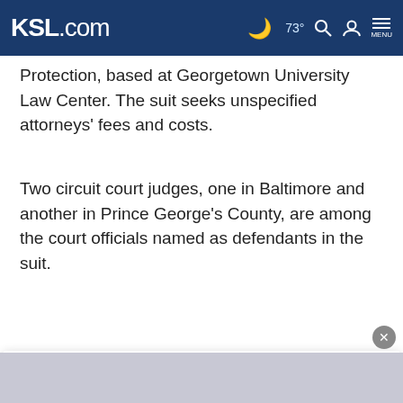KSL.com | 73° | Search | Account | MENU
Protection, based at Georgetown University Law Center. The suit seeks unspecified attorneys' fees and costs.
Two circuit court judges, one in Baltimore and another in Prince George's County, are among the court officials named as defendants in the suit.
The suit says some trial courts in Maryland maintain both
Cookie Notice
We use cookies to improve your experience, analyze site traffic, and to personalize content and ads. By continuing to use our site, you consent to our use of cookies. Please visit our Terms of Use and  Privacy Policy for more information.